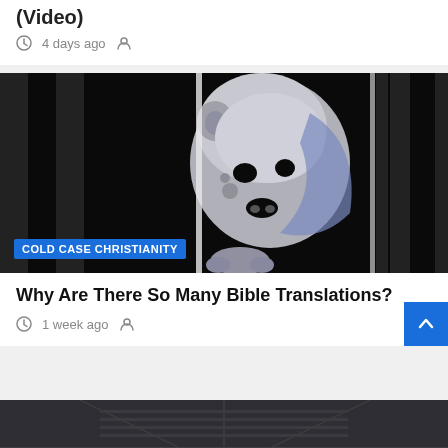(Video)
4 days ago
[Figure (illustration): Cold Case Christianity lion logo — stylized grey and blue lion silhouette on black background with vertical stripe pattern. Badge reads 'COLD CASE CHRISTIANITY'.]
Why Are There So Many Bible Translations?
1 week ago